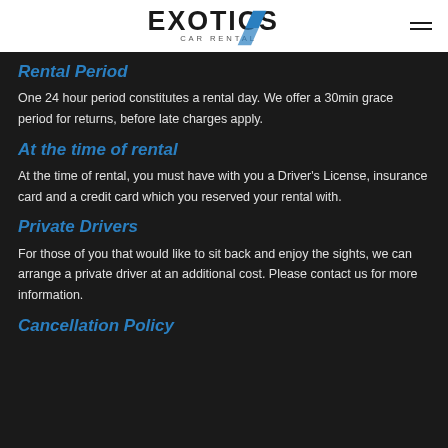EXOTICS CAR RENTAL
Rental Period
One 24 hour period constitutes a rental day. We offer a 30min grace period for returns, before late charges apply.
At the time of rental
At the time of rental, you must have with you a Driver's License, insurance card and a credit card which you reserved your rental with.
Private Drivers
For those of you that would like to sit back and enjoy the sights, we can arrange a private driver at an additional cost. Please contact us for more information.
Cancellation Policy